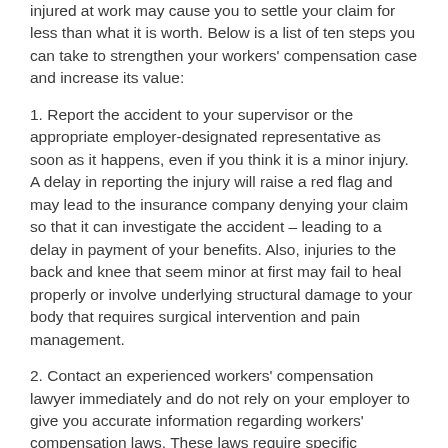injured at work may cause you to settle your claim for less than what it is worth. Below is a list of ten steps you can take to strengthen your workers' compensation case and increase its value:
1. Report the accident to your supervisor or the appropriate employer-designated representative as soon as it happens, even if you think it is a minor injury. A delay in reporting the injury will raise a red flag and may lead to the insurance company denying your claim so that it can investigate the accident – leading to a delay in payment of your benefits. Also, injuries to the back and knee that seem minor at first may fail to heal properly or involve underlying structural damage to your body that requires surgical intervention and pain management.
2. Contact an experienced workers' compensation lawyer immediately and do not rely on your employer to give you accurate information regarding workers' compensation laws. These laws require specific knowledge that many employers may not have, and your employer may unknowingly give you inaccurate information that can compromise your claim.
3. Recognize that the claims' adjuster is not on your side.